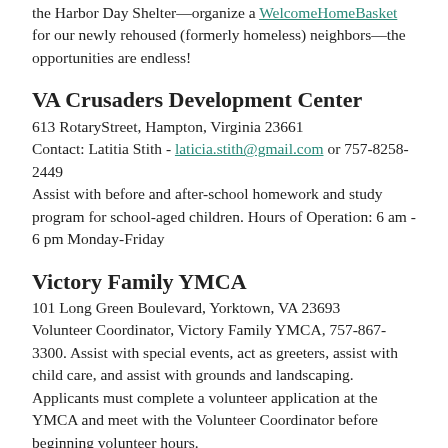the Harbor Day Shelter—organize a WelcomeHomeBasket for our newly rehoused (formerly homeless) neighbors—the opportunities are endless!
VA Crusaders Development Center
613 RotaryStreet, Hampton, Virginia 23661
Contact: Latitia Stith - laticia.stith@gmail.com or 757-8258-2449
Assist with before and after-school homework and study program for school-aged children. Hours of Operation: 6 am - 6 pm Monday-Friday
Victory Family YMCA
101 Long Green Boulevard, Yorktown, VA 23693
Volunteer Coordinator, Victory Family YMCA, 757-867-3300. Assist with special events, act as greeters, assist with child care, and assist with grounds and landscaping. Applicants must complete a volunteer application at the YMCA and meet with the Volunteer Coordinator before beginning volunteer hours.